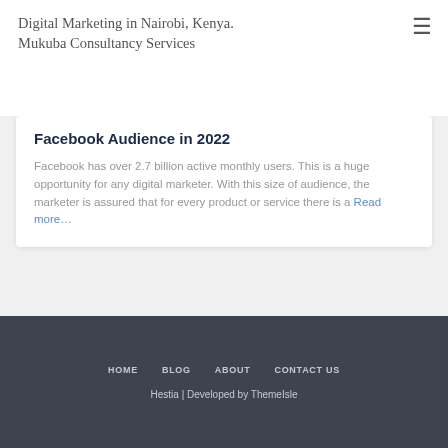Digital Marketing in Nairobi, Kenya. Mukuba Consultancy Services
Facebook Audience in 2022
Facebook has over 2.7 billion active monthly users. This is a huge opportunity for any digital marketer. With this size of audience, the marketer is assured that for every product or service there is a Read more…
HOME   BLOG   ABOUT   CONTACT US
Hestia | Developed by ThemeIsle